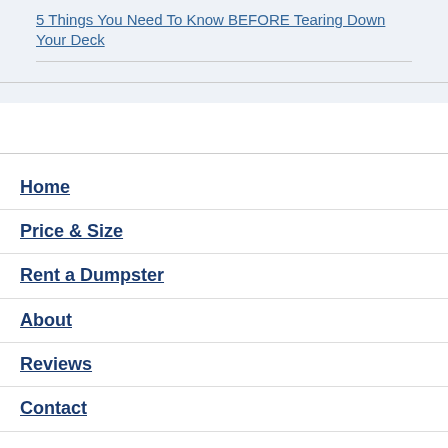5 Things You Need To Know BEFORE Tearing Down Your Deck
Home
Price & Size
Rent a Dumpster
About
Reviews
Contact